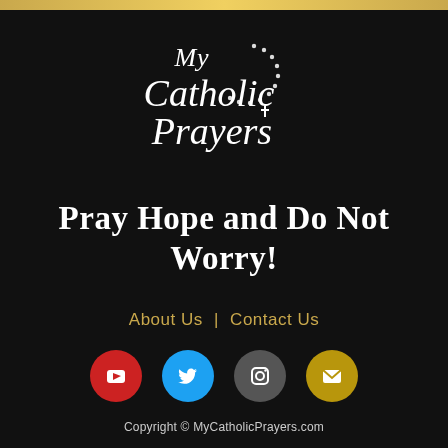[Figure (logo): My Catholic Prayers logo in white script/cursive lettering with rosary beads forming a circle, on dark background with gold top bar]
Pray Hope and Do Not Worry!
About Us | Contact Us
[Figure (infographic): Social media icons row: YouTube (red circle), Twitter (blue circle), Instagram (gray circle), Email (gold circle)]
Copyright © MyCatholicPrayers.com